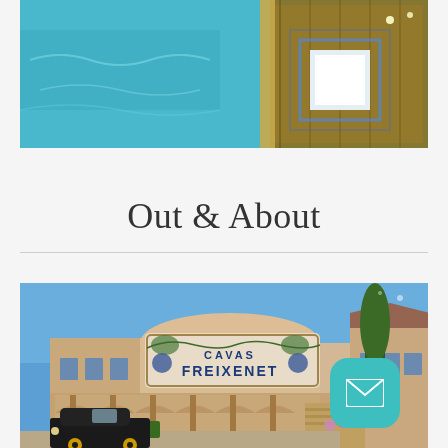[Figure (photo): Top photo showing a glowing illuminated white cube near a blue swimming pool at night, with wooden deck elements visible]
Out & About
[Figure (photo): Photo of the Cavas Freixenet winery building facade with decorative tiled sign reading 'CAVAS FREIXENET', blue sky, vintage black car parked in front, lush gardens and trees]